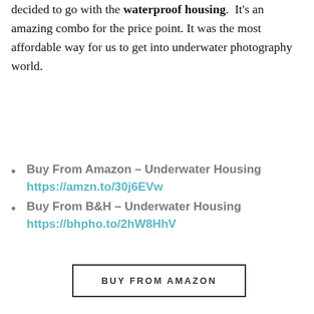decided to go with the waterproof housing. It's an amazing combo for the price point. It was the most affordable way for us to get into underwater photography world.
Buy From Amazon – Underwater Housing https://amzn.to/30j6EVw
Buy From B&H – Underwater Housing https://bhpho.to/2hW8HhV
BUY FROM AMAZON